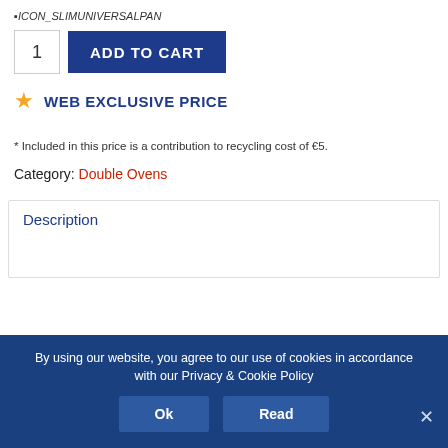[Figure (illustration): ICON_SLIMUNIVERSALPAN product icon image placeholder]
1
ADD TO CART
WEB EXCLUSIVE PRICE
* Included in this price is a contribution to recycling cost of €5.
Category: Double Ovens
Description
By using our website, you agree to our use of cookies in accordance with our Privacy & Cookie Policy
Ok
Read